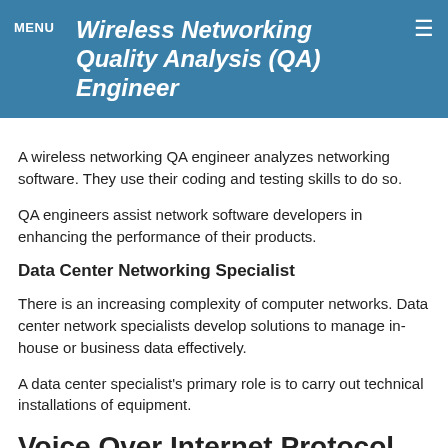Wireless Networking Quality Analysis (QA) Engineer — MENU
A wireless networking QA engineer analyzes networking software. They use their coding and testing skills to do so.
QA engineers assist network software developers in enhancing the performance of their products.
Data Center Networking Specialist
There is an increasing complexity of computer networks. Data center network specialists develop solutions to manage in-house or business data effectively.
A data center specialist's primary role is to carry out technical installations of equipment.
Voice Over Internet Protocol